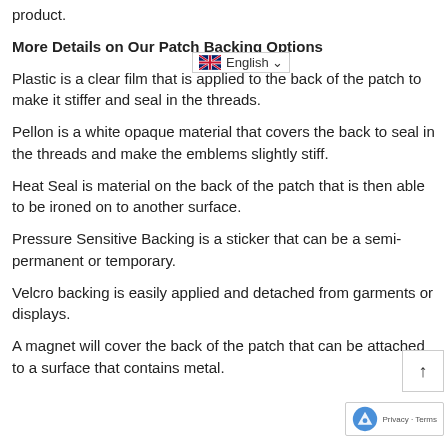product.
More Details on Our Patch Backing Options
Plastic is a clear film that is applied to the back of the patch to make it stiffer and seal in the threads.
Pellon is a white opaque material that covers the back to seal in the threads and make the emblems slightly stiff.
Heat Seal is material on the back of the patch that is then able to be ironed on to another surface.
Pressure Sensitive Backing is a sticker that can be a semi-permanent or temporary.
Velcro backing is easily applied and detached from garments or displays.
A magnet will cover the back of the patch that can be attached to a surface that contains metal.